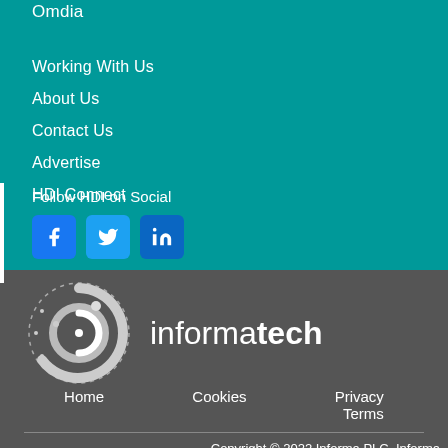Omdia
Working With Us
About Us
Contact Us
Advertise
HDI Connect
Follow HDI on Social
[Figure (logo): Social media icons: Facebook, Twitter, LinkedIn]
[Figure (logo): Informa Tech logo - circular icon with text 'informatech']
Home
Cookies
Privacy
Terms
Copyright © 2022 Informa PLC. Informa PLC is registered in England and Wales